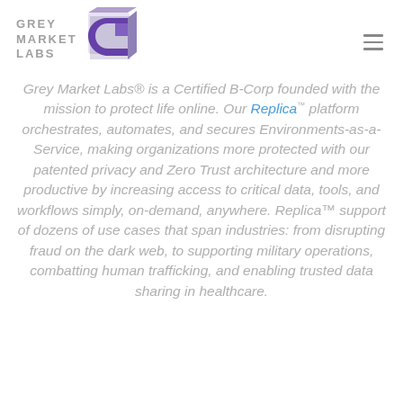[Figure (logo): Grey Market Labs logo with stylized G icon in purple/grey and text GREY MARKET LABS]
Grey Market Labs® is a Certified B-Corp founded with the mission to protect life online. Our Replica™ platform orchestrates, automates, and secures Environments-as-a-Service, making organizations more protected with our patented privacy and Zero Trust architecture and more productive by increasing access to critical data, tools, and workflows simply, on-demand, anywhere. Replica™ support of dozens of use cases that span industries: from disrupting fraud on the dark web, to supporting military operations, combatting human trafficking, and enabling trusted data sharing in healthcare.